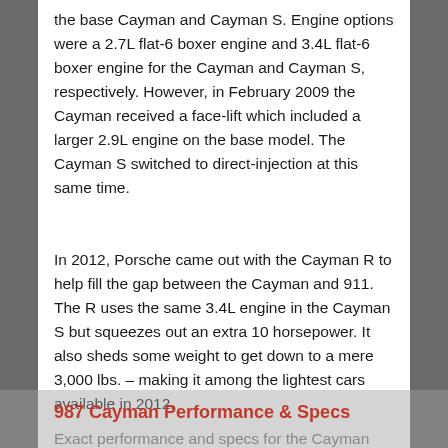the base Cayman and Cayman S. Engine options were a 2.7L flat-6 boxer engine and 3.4L flat-6 boxer engine for the Cayman and Cayman S, respectively. However, in February 2009 the Cayman received a face-lift which included a larger 2.9L engine on the base model. The Cayman S switched to direct-injection at this same time.
In 2012, Porsche came out with the Cayman R to help fill the gap between the Cayman and 911. The R uses the same 3.4L engine in the Cayman S but squeezes out an extra 10 horsepower. It also sheds some weight to get down to a mere 3,000 lbs. – making it among the lightest cars available in 2012.
987 Cayman Performance & Specs
Exact performance and specs for the Cayman